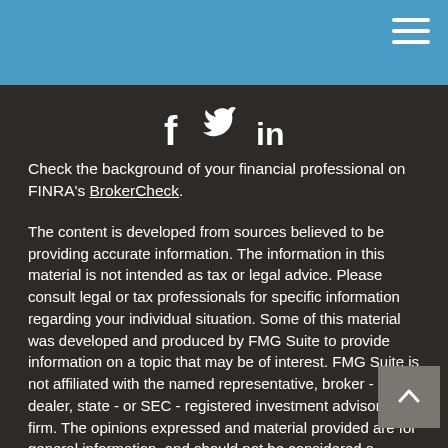Navigation header with hamburger menu
[Figure (illustration): Social media icons: Facebook (f), Twitter (bird), LinkedIn (in)]
Check the background of your financial professional on FINRA's BrokerCheck.
The content is developed from sources believed to be providing accurate information. The information in this material is not intended as tax or legal advice. Please consult legal or tax professionals for specific information regarding your individual situation. Some of this material was developed and produced by FMG Suite to provide information on a topic that may be of interest. FMG Suite is not affiliated with the named representative, broker - dealer, state - or SEC - registered investment advisory firm. The opinions expressed and material provided are for general information, and should not be considered a solicitation for the purchase or sale of any security.
We take protecting your data and privacy very seriously. As of January 1, 2020 the California Consumer Privacy Act (CCPA)